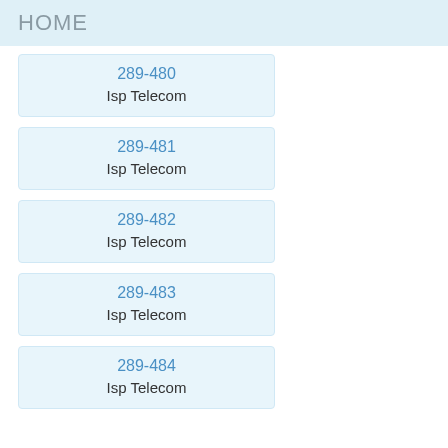HOME
289-480
Isp Telecom
289-481
Isp Telecom
289-482
Isp Telecom
289-483
Isp Telecom
289-484
Isp Telecom